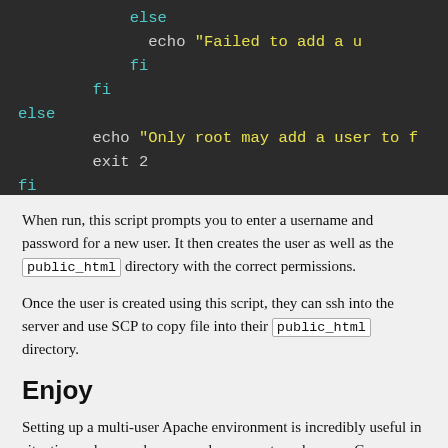[Figure (screenshot): Dark-themed code block showing a shell script snippet with 'else', 'fi', 'echo', and 'exit' keywords in cyan and yellow on dark background]
When run, this script prompts you to enter a username and password for a new user. It then creates the user as well as the public_html directory with the correct permissions.
Once the user is created using this script, they can ssh into the server and use SCP to copy file into their public_html directory.
Enjoy
Setting up a multi-user Apache environment is incredibly useful in situations where each user needs a separate web space. Common situations are professional and academic classes as well as